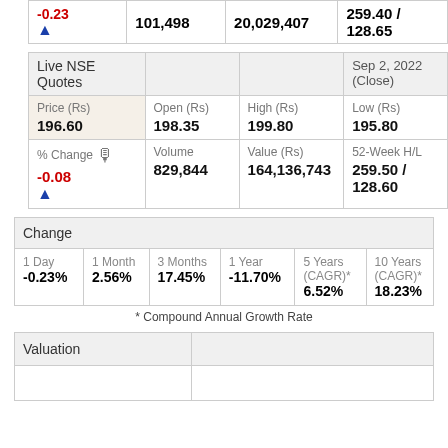| % Change | Volume | Value (Rs) | 52-Week H/L |
| --- | --- | --- | --- |
| -0.23 | 101,498 | 20,029,407 | 259.40 / 128.65 |
| Live NSE Quotes |  |  | Sep 2, 2022 (Close) |
| --- | --- | --- | --- |
| Price (Rs)
196.60 | Open (Rs)
198.35 | High (Rs)
199.80 | Low (Rs)
195.80 |
| % Change
-0.08 | Volume
829,844 | Value (Rs)
164,136,743 | 52-Week H/L
259.50 / 128.60 |
| Change |
| --- |
| 1 Day
-0.23% | 1 Month
2.56% | 3 Months
17.45% | 1 Year
-11.70% | 5 Years (CAGR)*
6.52% | 10 Years (CAGR)*
18.23% |
* Compound Annual Growth Rate
| Valuation |  |
| --- | --- |